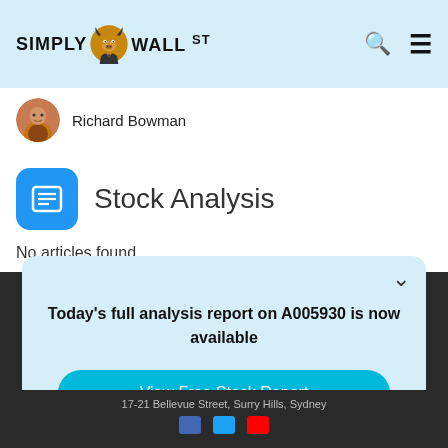Simply Wall St
Richard Bowman
Stock Analysis
No articles found
Today's full analysis report on A005930 is now available
View Free Stock Report
17-21 Bellevue Street, Surry Hills, Sydney